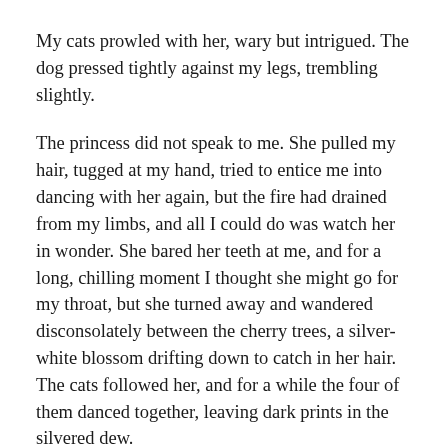My cats prowled with her, wary but intrigued. The dog pressed tightly against my legs, trembling slightly.
The princess did not speak to me. She pulled my hair, tugged at my hand, tried to entice me into dancing with her again, but the fire had drained from my limbs, and all I could do was watch her in wonder. She bared her teeth at me, and for a long, chilling moment I thought she might go for my throat, but she turned away and wandered disconsolately between the cherry trees, a silver-white blossom drifting down to catch in her hair. The cats followed her, and for a while the four of them danced together, leaving dark prints in the silvered dew.